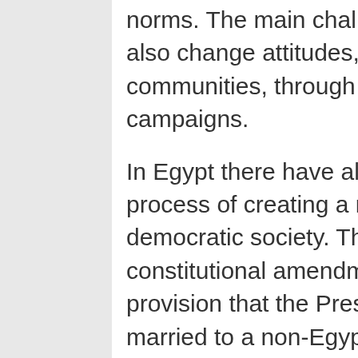to do much to influence entrenched cultural norms. The main challenge will be whether they can also change attitudes, and reach out to rural communities, through education and public awareness campaigns.
In Egypt there have already been red flags in the process of creating a new, more equitable and democratic society. The wording of a proposed constitutional amendment in March stated as a provision that the President of Egypt could not be married to a non-Egyptian wife, implicitly stating that the President of Egypt had to be male. Egyptians, male and female, must be alert to this kind of gender-discrimination being inserted into their new constitution. Women need to continue to make their voices heard, and demand equality in the new state that they have jointly created. They need to further ensure that the laws, once created, apply regardless of geographical location, or socio-economic condition.